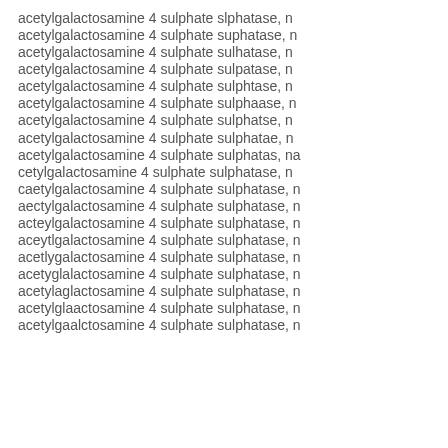acetylgalactosamine 4 sulphate slphatase, n
acetylgalactosamine 4 sulphate suphatase, n
acetylgalactosamine 4 sulphate sulhatase, n
acetylgalactosamine 4 sulphate sulpatase, n
acetylgalactosamine 4 sulphate sulphtase, n
acetylgalactosamine 4 sulphate sulphaase, n
acetylgalactosamine 4 sulphate sulphatse, n
acetylgalactosamine 4 sulphate sulphatae, n
acetylgalactosamine 4 sulphate sulphatas, na
cetylgalactosamine 4 sulphate sulphatase, n
caetylgalactosamine 4 sulphate sulphatase, n
aectylgalactosamine 4 sulphate sulphatase, n
acteylgalactosamine 4 sulphate sulphatase, n
aceytlgalactosamine 4 sulphate sulphatase, n
acetlygalactosamine 4 sulphate sulphatase, n
acetyglalactosamine 4 sulphate sulphatase, n
acetylaglactosamine 4 sulphate sulphatase, n
acetylglaactosamine 4 sulphate sulphatase, n
acetylgaalctosamine 4 sulphate sulphatase, n